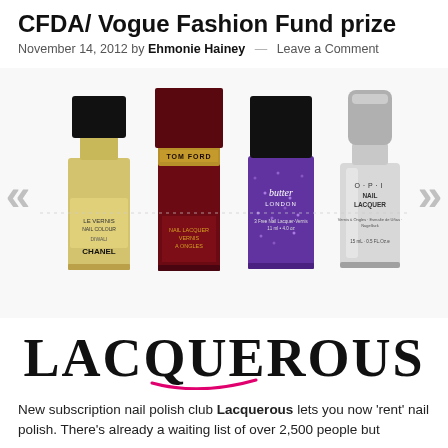CFDA/ Vogue Fashion Fund prize
November 14, 2012 by Ehmonie Hainey — Leave a Comment
[Figure (photo): Four nail polish bottles: Chanel Le Vernis in gold/champagne, Tom Ford Nail Lacquer in deep red/burgundy, Butter London in purple glitter, and OPI Nail Lacquer in silver. Left and right navigation arrows flank the image.]
LACQUEROUS
New subscription nail polish club Lacquerous lets you now 'rent' nail polish. There's already a waiting list of over 2,500 people but